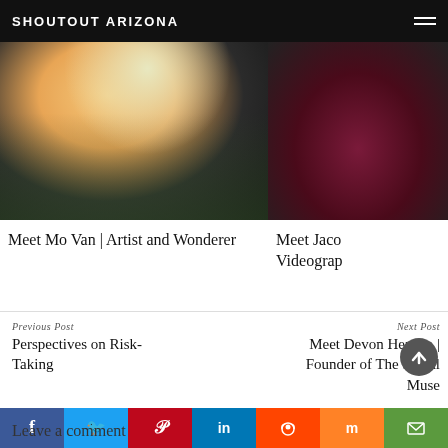SHOUTOUT ARIZONA
[Figure (photo): Portrait photo of Mo Van smiling outdoors, wearing black top with white tassel earrings, flowers in background]
Meet Mo Van | Artist and Wonderer
[Figure (photo): Partially visible photo with dark reddish/green tones, partially cropped]
Meet Jacob Videograp
Previous Post
Perspectives on Risk-Taking
Next Post
Meet Devon Herrera | Founder of The Social Muse
Leave a comment